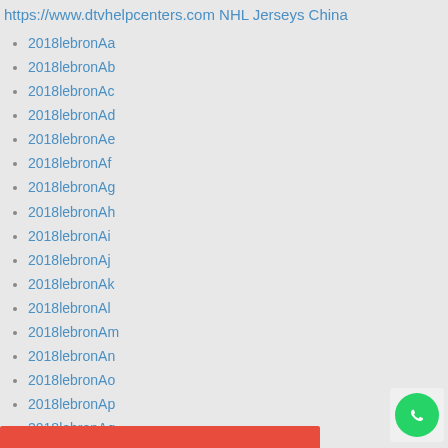https://www.dtvhelpcenters.com NHL Jerseys China
2018lebronAa
2018lebronAb
2018lebronAc
2018lebronAd
2018lebronAe
2018lebronAf
2018lebronAg
2018lebronAh
2018lebronAi
2018lebronAj
2018lebronAk
2018lebronAl
2018lebronAm
2018lebronAn
2018lebronAo
2018lebronAp
2018lebronAq
2018lebronAr
2018lebronAs
2018lebronAt